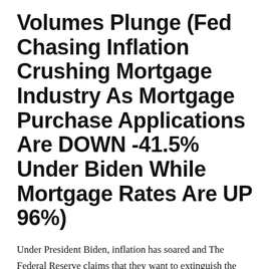Volumes Plunge (Fed Chasing Inflation Crushing Mortgage Industry As Mortgage Purchase Applications Are DOWN -41.5% Under Biden While Mortgage Rates Are UP 96%)
Under President Biden, inflation has soared and The Federal Reserve claims that they want to extinguish the inflation fire by tightening monetary policy … resulting